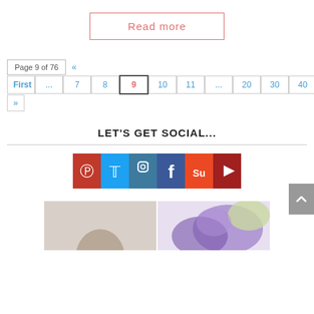Read more
Page 9 of 76  « First ... 7 8 9 10 11 ... 20 30 40 ... Last »
LET'S GET SOCIAL...
[Figure (infographic): Social media icon bar with Pinterest, Twitter, Instagram, Facebook, StumbleUpon, YouTube icons]
[Figure (photo): Bottom section showing two partial images — left appears to show a person, right shows purple floral watercolor illustration]